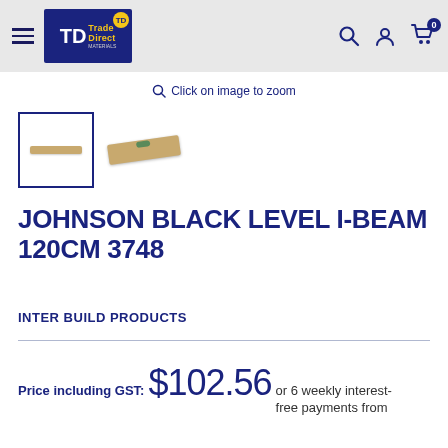Trade Direct Materials — navigation header with logo, search, account, and cart icons
Click on image to zoom
[Figure (photo): Two thumbnail images of a Johnson Black Level I-Beam 120cm 3748: one placeholder outline box, one showing the level tool at an angle]
JOHNSON BLACK LEVEL I-BEAM 120CM 3748
INTER BUILD PRODUCTS
Price including GST: $102.56 or 6 weekly interest-free payments from